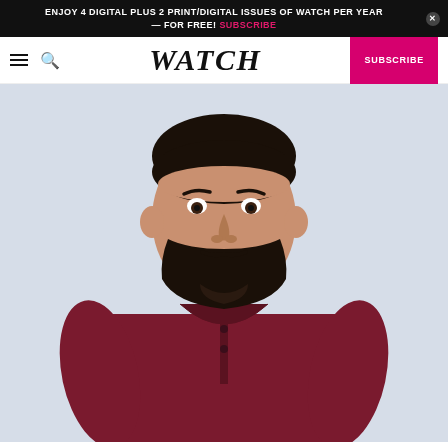ENJOY 4 DIGITAL PLUS 2 PRINT/DIGITAL ISSUES OF WATCH PER YEAR — FOR FREE! SUBSCRIBE
WATCH — SUBSCRIBE
[Figure (photo): A smiling man with dark hair and beard wearing a dark red/maroon long-sleeve henley shirt, standing against a light blue-grey background.]